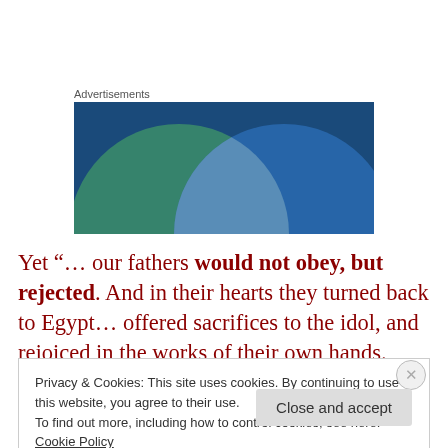Advertisements
[Figure (illustration): Advertisement banner with overlapping green and blue circles on a dark blue background, creating an intersection/Venn diagram visual effect.]
Yet “… our fathers would not obey, but rejected. And in their hearts they turned back to Egypt… offered sacrifices to the idol, and rejoiced in the works of their own hands. Then God turned and gave them up … ‘And I will carry
Privacy & Cookies: This site uses cookies. By continuing to use this website, you agree to their use.
To find out more, including how to control cookies, see here: Cookie Policy
Close and accept